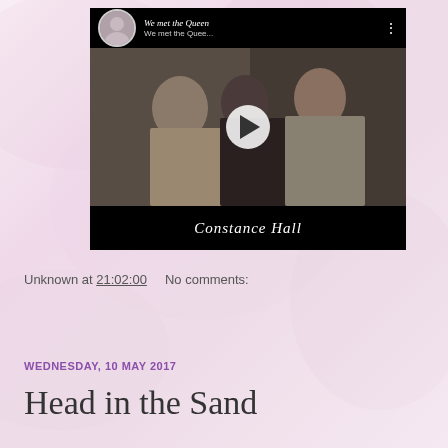[Figure (screenshot): Embedded video player showing 'We met the Queen' by Constance Hall. Video thumbnail shows three women posing together. Top bar has circular avatar and title 'We met the Quee...' with a three-dot menu. Center has a white circular play button. Bottom bar shows 'Constance Hall' text.]
Unknown at 21:02:00    No comments:
Share
WEDNESDAY, 10 MAY 2017
Head in the Sand